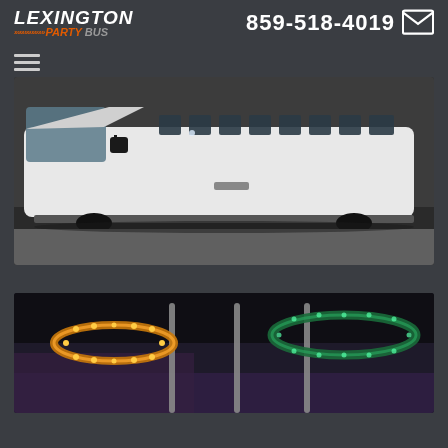[Figure (logo): Lexington Party Bus logo with orange arrows and italic white/orange/grey text]
859-518-4019
[Figure (illustration): Hamburger menu icon (three horizontal lines)]
[Figure (photo): Exterior side view of a white stretched limousine/party bus parked in a garage, showing the long body, tinted windows, and side mirror]
[Figure (photo): Interior of a party bus showing illuminated ceiling rings with warm amber LED lights and poles]